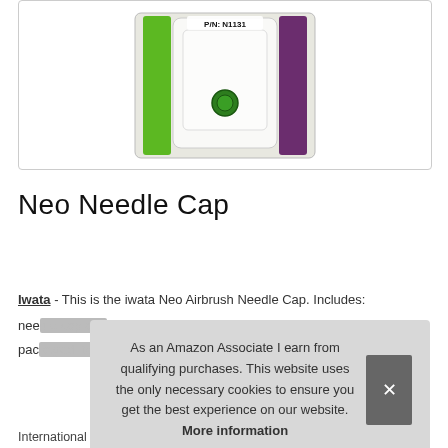[Figure (photo): Product photo of Iwata Neo Airbrush Needle Cap in retail packaging, showing green and purple colored blister pack with clear window, labeled P/N: N1131]
Neo Needle Cap
Iwata - This is the iwata Neo Airbrush Needle Cap. Includes: nee[dle cap]. pac[kaged].
As an Amazon Associate I earn from qualifying purchases. This website uses the only necessary cookies to ensure you get the best experience on our website. More information
International products have separate terms, are ratings, and